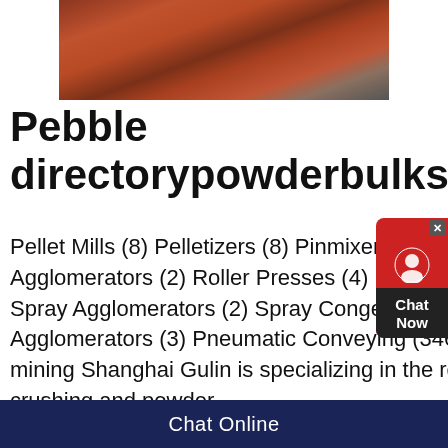[Figure (photo): Industrial mining/crushing equipment photographed from above, showing red metal framework and conveyor structures]
Pebble directorypowderbulksolids
Pellet Mills (8) Pelletizers (8) Pinmixers (3) Powder Coaters (9) Powder Presses (4) Rewetting Agglomerators (2) Roller Presses (4) Rotary Agglomerators (5) Screens (2) Spheroidizers (1) Spray Agglomerators (2) Spray Congealers (1) Tablet Coaters (6) Tablet Presses (2) Vibratory Agglomerators (3) Pneumatic Conveying (346) Conveyors, Pneumatic (135)pebble mill for sale in mining Shanghai Gulin is specializing in the research, development, and production of industrial crushing and powder
Chat Online